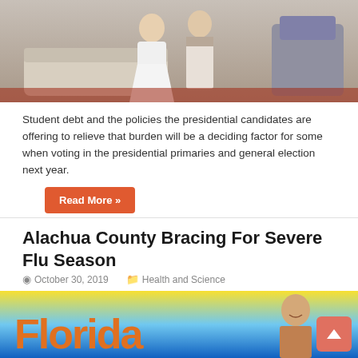[Figure (photo): A couple posing together, the woman in a white wedding dress and the man in a white shirt and vest, standing in front of a sofa and chairs in an interior setting.]
Student debt and the policies the presidential candidates are offering to relieve that burden will be a deciding factor for some when voting in the presidential primaries and general election next year.
Read More »
Alachua County Bracing For Severe Flu Season
October 30, 2019   Health and Science
[Figure (photo): A man smiling in front of a colorful sign that reads 'Florida' with yellow and blue background. Partial text 'Florida' visible in orange letters.]